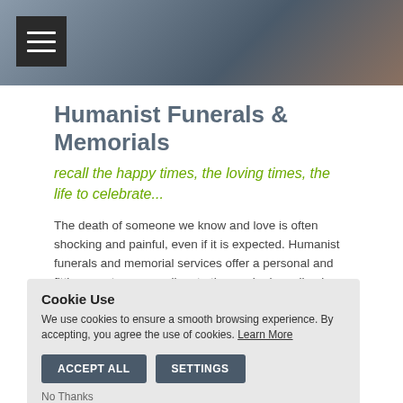[Figure (photo): Photo banner showing a person in dark suit with a flower, near what appears to be a casket or furniture, with a hamburger menu icon overlay in top-left corner]
Humanist Funerals & Memorials
recall the happy times, the loving times, the life to celebrate...
The death of someone we know and love is often shocking and painful, even if it is expected. Humanist funerals and memorial services offer a personal and fitting way to say goodbye to those who have lived without religion. Humanist funerals bring people together to express and ... te the life lived. ... on the person ... nections they ... lived their life. ... onal most likely to ... f a funeral, what ... y up to you. And since funerals themselves have no legal status, humanist
Cookie Use
We use cookies to ensure a smooth browsing experience. By accepting, you agree the use of cookies. Learn More
ACCEPT ALL   SETTINGS
No Thanks